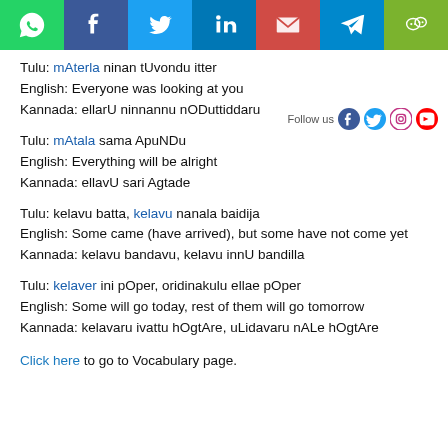[Figure (infographic): Social media sharing bar with icons: WhatsApp, Facebook, Twitter, LinkedIn, Gmail, Telegram, WeChat]
Tulu: mAterla ninan tUvondu itter
English: Everyone was looking at you
Kannada: ellarU ninnannu nODuttiddaru
Tulu: mAtala sama ApuNDu
English: Everything will be alright
Kannada: ellavU sari Agtade
Tulu: kelavu batta, kelavu nanala baidija
English: Some came (have arrived), but some have not come yet
Kannada: kelavu bandavu, kelavu innU bandilla
Tulu: kelaver ini pOper, oridinakulu ellae pOper
English: Some will go today, rest of them will go tomorrow
Kannada: kelavaru ivattu hOgtAre, uLidavaru nALe hOgtAre
Click here to go to Vocabulary page.